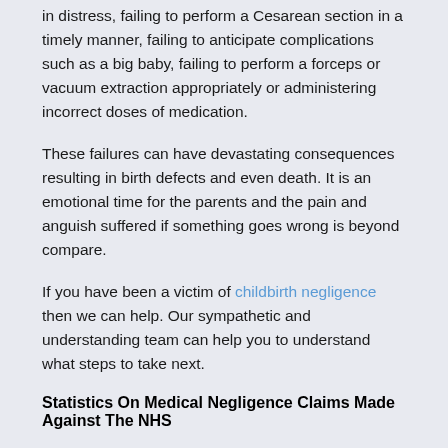in distress, failing to perform a Cesarean section in a timely manner, failing to anticipate complications such as a big baby, failing to perform a forceps or vacuum extraction appropriately or administering incorrect doses of medication.
These failures can have devastating consequences resulting in birth defects and even death. It is an emotional time for the parents and the pain and anguish suffered if something goes wrong is beyond compare.
If you have been a victim of childbirth negligence then we can help. Our sympathetic and understanding team can help you to understand what steps to take next.
Statistics On Medical Negligence Claims Made Against The NHS
Some medical negligence claims are made against healthcare professionals or hospitals which are part of the NHS. Statistics published regularly by NHS Resolution offer us insight into just how many claims are made against the NHS year by year. NHS Resolution is a department within the health service that exists in order to help resolve claims which it receives.